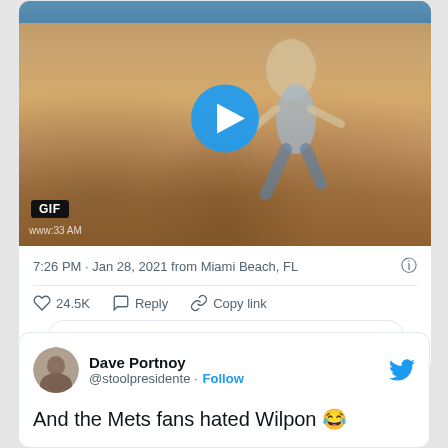[Figure (screenshot): GIF video thumbnail showing a person running on a sandy surface with a play button overlay. A 'GIF' badge is visible at bottom-left and timestamp 'www:33 AM' at bottom.]
7:26 PM · Jan 28, 2021 from Miami Beach, FL
24.5K  Reply  Copy link
Read 287 replies
Dave Portnoy
@stoolpresidente · Follow
And the Mets fans hated Wilpon 😂